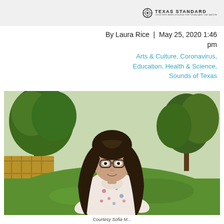TEXAS STANDARD
By Laura Rice  |  May 25, 2020 1:46 pm
Arts & Culture, Coronavirus, Education, Health & Science, Sounds of Texas
[Figure (photo): Young woman with long dark hair and glasses, wearing a floral blouse, standing in a green backyard with trees and a wooden fence in the background.]
Courtesy Sofia M...